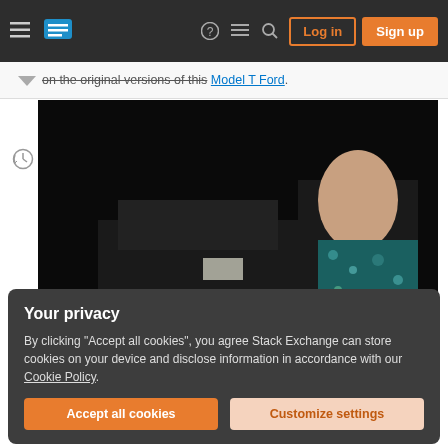Stack Exchange navigation bar with hamburger menu, logo, help, chat, search icons, Log in and Sign up buttons
on the original versions of this Model T Ford.
[Figure (photo): A man in a colorful Hawaiian shirt standing next to vintage Model T Ford automobiles at night, with headlights illuminated]
Your privacy
By clicking "Accept all cookies", you agree Stack Exchange can store cookies on your device and disclose information in accordance with our Cookie Policy.
Accept all cookies   Customize settings